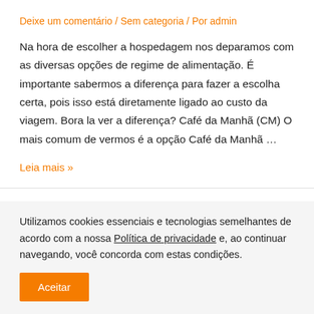Deixe um comentário / Sem categoria / Por admin
Na hora de escolher a hospedagem nos deparamos com as diversas opções de regime de alimentação. É importante sabermos a diferença para fazer a escolha certa, pois isso está diretamente ligado ao custo da viagem. Bora la ver a diferença? Café da Manhã (CM) O mais comum de vermos é a opção Café da Manhã …
Leia mais »
Utilizamos cookies essenciais e tecnologias semelhantes de acordo com a nossa Política de privacidade e, ao continuar navegando, você concorda com estas condições.
Aceitar